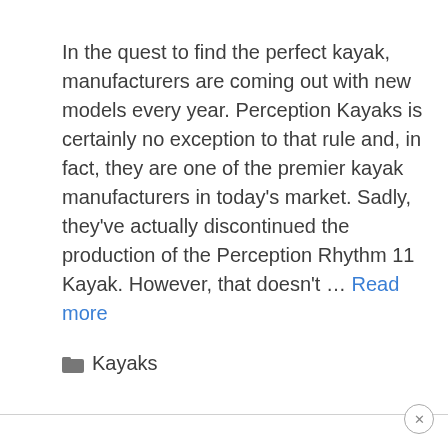In the quest to find the perfect kayak, manufacturers are coming out with new models every year. Perception Kayaks is certainly no exception to that rule and, in fact, they are one of the premier kayak manufacturers in today's market. Sadly, they've actually discontinued the production of the Perception Rhythm 11 Kayak. However, that doesn't … Read more
Kayaks